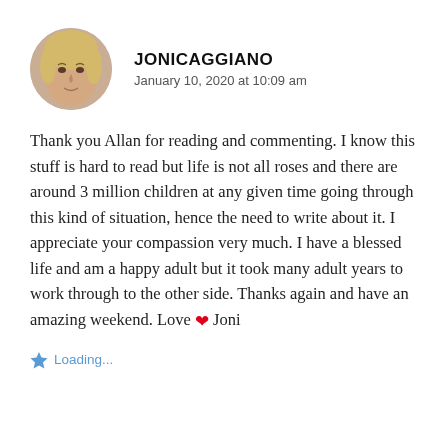[Figure (photo): Circular avatar photo of a blonde woman]
JONICAGGIANO
January 10, 2020 at 10:09 am
Thank you Allan for reading and commenting. I know this stuff is hard to read but life is not all roses and there are around 3 million children at any given time going through this kind of situation, hence the need to write about it. I appreciate your compassion very much. I have a blessed life and am a happy adult but it took many adult years to work through to the other side. Thanks again and have an amazing weekend. Love ❤ Joni
Loading...